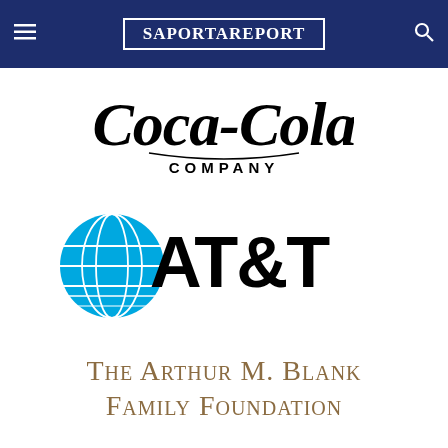SaportaReport
[Figure (logo): Coca-Cola Company logo in black script with 'COMPANY' below in bold sans-serif]
[Figure (logo): AT&T logo with blue globe icon and 'AT&T' in large bold black sans-serif text]
[Figure (logo): The Arthur M. Blank Family Foundation text logo in golden-brown serif small-caps font]